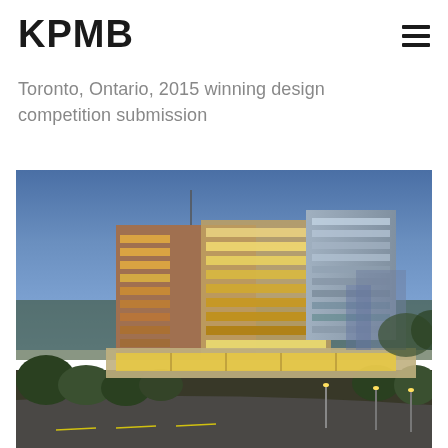KPMB
Toronto, Ontario, 2015 winning design competition submission
[Figure (photo): Aerial/elevated dusk photograph of a modern multi-story building complex with glass curtain walls illuminated from within, surrounded by trees and a road with streetlights in the foreground, blue evening sky in background.]